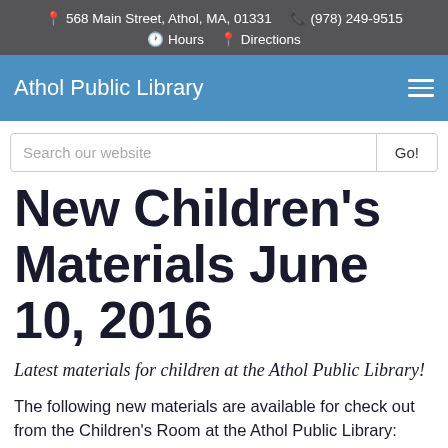568 Main Street, Athol, MA, 01331  (978) 249-9515  Hours  Directions
Athol Public Library
Search our website  Go!
New Children's Materials June 10, 2016
Latest materials for children at the Athol Public Library!
The following new materials are available for check out from the Children's Room at the Athol Public Library: